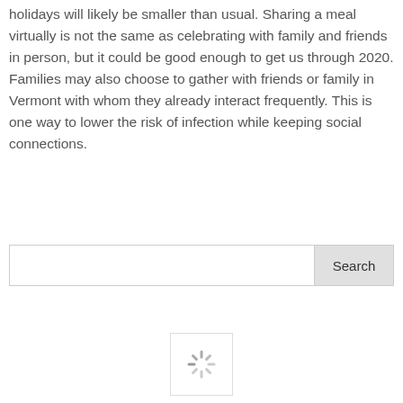holidays will likely be smaller than usual. Sharing a meal virtually is not the same as celebrating with family and friends in person, but it could be good enough to get us through 2020. Families may also choose to gather with friends or family in Vermont with whom they already interact frequently. This is one way to lower the risk of infection while keeping social connections.
[Figure (screenshot): A search box with a text input field and a 'Search' button on the right side]
[Figure (other): A small loading spinner icon in a white box at the bottom of the page]